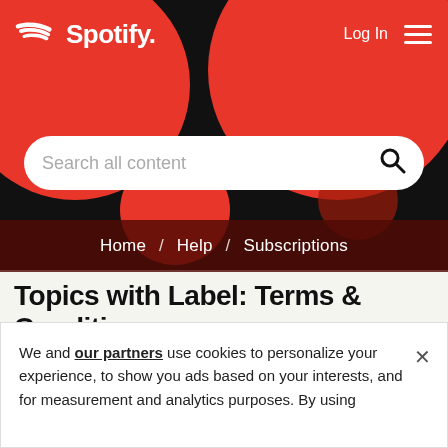[Figure (screenshot): Spotify header with red circular blobs on dark background, Spotify logo top-left, Log In and hamburger menu top-right, search bar in the middle]
Home / Help / Subscriptions
Topics with Label: Terms & Condition
"NO SUBSCRIPTION" (1)
We and our partners use cookies to personalize your experience, to show you ads based on your interests, and for measurement and analytics purposes. By using